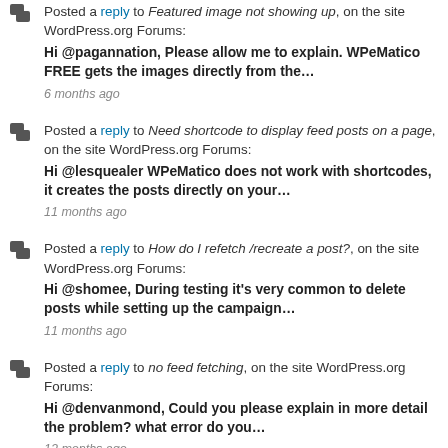Posted a reply to Featured image not showing up, on the site WordPress.org Forums: Hi @pagannation, Please allow me to explain. WPeMatico FREE gets the images directly from the… 6 months ago
Posted a reply to Need shortcode to display feed posts on a page, on the site WordPress.org Forums: Hi @lesquealer WPeMatico does not work with shortcodes, it creates the posts directly on your… 11 months ago
Posted a reply to How do I refetch /recreate a post?, on the site WordPress.org Forums: Hi @shomee, During testing it's very common to delete posts while setting up the campaign… 11 months ago
Posted a reply to no feed fetching, on the site WordPress.org Forums: Hi @denvanmond, Could you please explain in more detail the problem? what error do you… 12 months ago